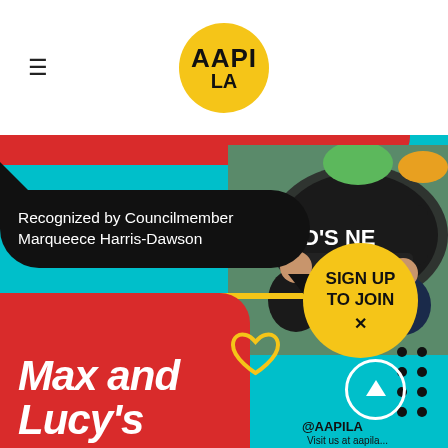AAPI LA logo and hamburger menu
[Figure (screenshot): AAPI LA website screenshot showing a cyan/turquoise background banner with a photo of two men at a cafe with a sign reading D'S NE CAFE, a black speech bubble reading 'Recognized by Councilmember Marqueece Harris-Dawson', a yellow line underneath, a red bottom section with italic bold white text 'Max and Lucy's', a yellow circle button reading 'SIGN UP TO JOIN', decorative yellow heart doodle, white circle with up arrow, and @AAPILA handle at the bottom right.]